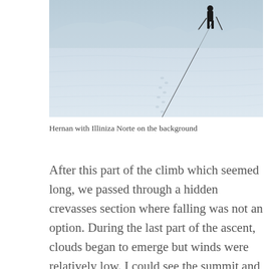[Figure (photo): A person with trekking poles walking on a snow-covered slope, with Illiniza Norte mountain visible in the background. The scene is predominantly light blue and white from the snow.]
Hernan with Illiniza Norte on the background
After this part of the climb which seemed long, we passed through a hidden crevasses section where falling was not an option. During the last part of the ascent, clouds began to emerge but winds were relatively low. I could see the summit and at this point, I was too tired to think straight. My focus was on taking every step